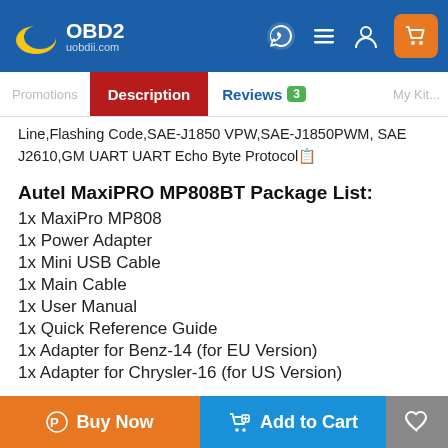VOBD2 uobdii.com
Description | Reviews 3
Line,Flashing Code,SAE-J1850 VPW,SAE-J1850PWM, SAE J2610,GM UART UART Echo Byte Protocol
Autel MaxiPRO MP808BT Package List:
1x MaxiPro MP808
1x Power Adapter
1x Mini USB Cable
1x Main Cable
1x User Manual
1x Quick Reference Guide
1x Adapter for Benz-14 (for EU Version)
1x Adapter for Chrysler-16 (for US Version)
Buy Now | Add to Cart